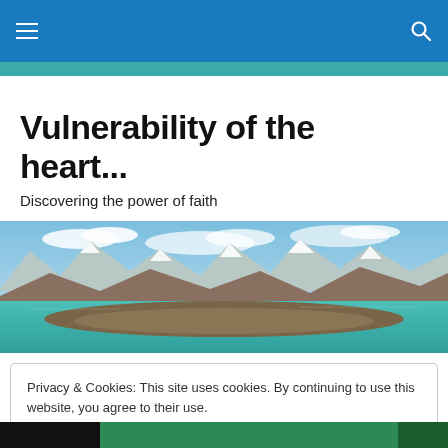Navigation bar with menu and search icons
Vulnerability of the heart...
Discovering the power of faith
[Figure (photo): Panoramic landscape photograph of a turquoise mountain lake with snow-capped peaks in the background and a flat peninsula in the foreground under a blue sky with clouds]
Privacy & Cookies: This site uses cookies. By continuing to use this website, you agree to their use.
To find out more, including how to control cookies, see here: Cookie Policy
Close and accept